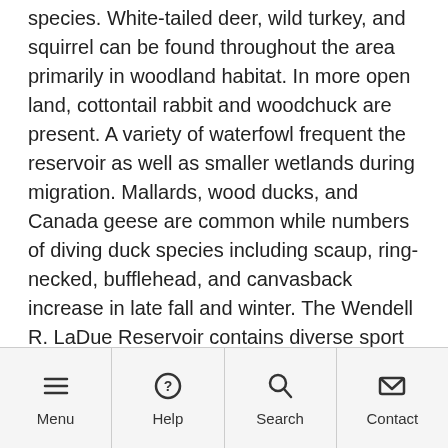species. White-tailed deer, wild turkey, and squirrel can be found throughout the area primarily in woodland habitat. In more open land, cottontail rabbit and woodchuck are present. A variety of waterfowl frequent the reservoir as well as smaller wetlands during migration. Mallards, wood ducks, and Canada geese are common while numbers of diving duck species including scaup, ring-necked, bufflehead, and canvasback increase in late fall and winter. The Wendell R. LaDue Reservoir contains diverse sport fish populations which include walleye, largemouth bass, bluegill, yellow perch, white...
Menu | Help | Search | Contact